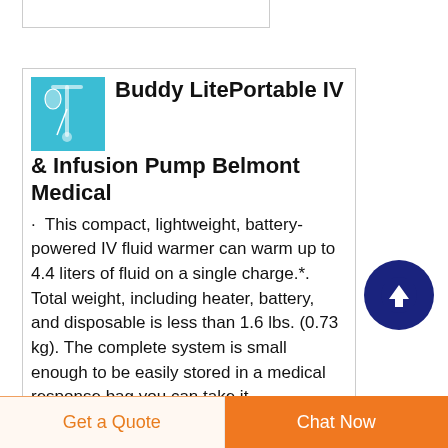[Figure (screenshot): Partial top bar / previous page element at top]
[Figure (photo): Product image of Buddy Lite Portable IV & Infusion Pump on teal/blue background]
Buddy LitePortable IV & Infusion Pump Belmont Medical
This compact, lightweight, battery-powered IV fluid warmer can warm up to 4.4 liters of fluid on a single charge.*. Total weight, including heater, battery, and disposable is less than 1.6 lbs. (0.73 kg). The complete system is small enough to be easily stored in a medical response bag you can take it
[Figure (other): Scroll-to-top button: dark navy blue circle with white upward arrow]
Get a Quote  Chat Now